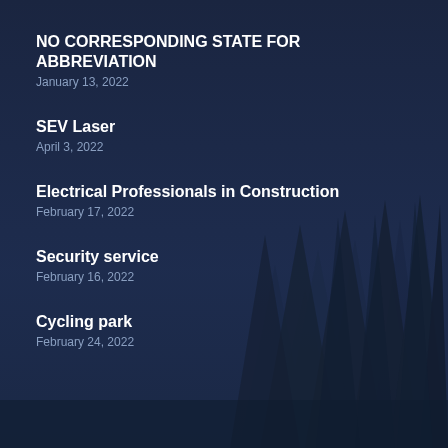NO CORRESPONDING STATE FOR ABBREVIATION
January 13, 2022
SEV Laser
April 3, 2022
Electrical Professionals in Construction
February 17, 2022
Security service
February 16, 2022
Cycling park
February 24, 2022